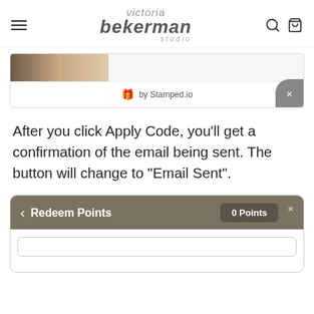victoria bekerman studio
[Figure (screenshot): Stamped.io loyalty widget banner with gift icon and 'by Stamped.io' text, with a close button]
After you click Apply Code, you'll get a confirmation of the email being sent. The button will change to "Email Sent".
[Figure (screenshot): Redeem Points widget showing header with back arrow, 'Redeem Points' title, '0 Points' badge, close button, and empty input area below]